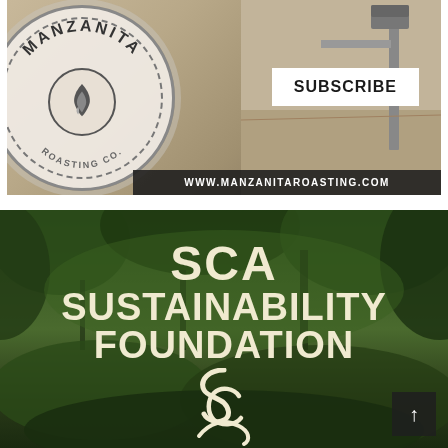[Figure (photo): Manzanita Roasting logo on a circular badge overlaid on a dry landscape background with a fence post and mailbox. A SUBSCRIBE button and website URL www.manzanitaroasting.com are visible.]
[Figure (photo): SCA Sustainability Foundation banner image showing lush green forest/trees background with bold white text reading SCA SUSTAINABILITY FOUNDATION and the SCA logo at the bottom. A scroll-up arrow button is in the bottom right corner.]